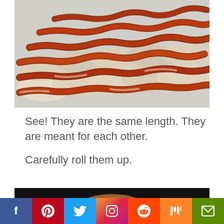[Figure (photo): Strips of cooked bacon laid over biscuit dough pieces on a baking sheet, showing bacon and dough are the same length.]
See! They are the same length. They are meant for each other.
Carefully roll them up.
[Figure (photo): Bottom edge of a food photo, dark background with a rounded shape visible at bottom of frame.]
[Figure (other): Social media sharing bar with icons for Facebook, Pinterest, Twitter, Instagram, Reddit, Mix, and Email.]